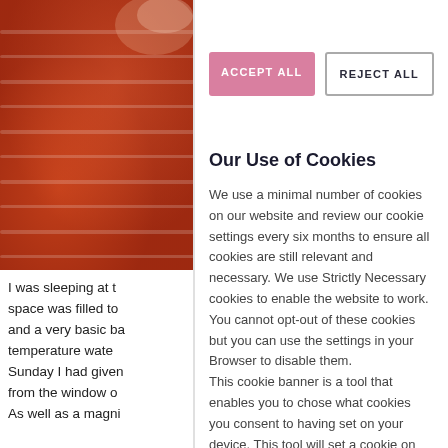[Figure (photo): Close-up photo of a red/orange knitted or textured fabric garment]
I was sleeping at t space was filled to and a very basic ba temperature wate Sunday I had given from the window o As well as a magni
ACCEPT ALL
REJECT ALL
Our Use of Cookies
We use a minimal number of cookies on our website and review our cookie settings every six months to ensure all cookies are still relevant and necessary. We use Strictly Necessary cookies to enable the website to work. You cannot opt-out of these cookies but you can use the settings in your Browser to disable them.
This cookie banner is a tool that enables you to chose what cookies you consent to having set on your device. This tool will set a cookie on your device to remember your choices.
Cookies on this website are defined as